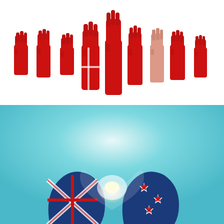[Figure (photo): Multiple raised fists painted red, arranged in a row against a white background, symbolizing solidarity or protest. The hands and arms are colored in solid red.]
[Figure (photo): Two hands forming a heart shape, painted with the New Zealand flag design (Union Jack on the left hand and Southern Cross stars on the right), against a light teal/blue background with sunlight glowing through the heart shape.]